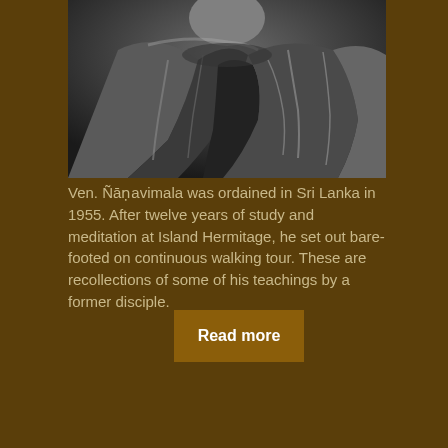[Figure (photo): Black and white close-up photograph of a Buddhist monk in robes, showing the torso and draped fabric of the robe, face partially visible at top]
Ven. Nāṇavimala was ordained in Sri Lanka in 1955. After twelve years of study and meditation at Island Hermitage, he set out bare-footed on continuous walking tour. These are recollections of some of his teachings by a former disciple.
Read more